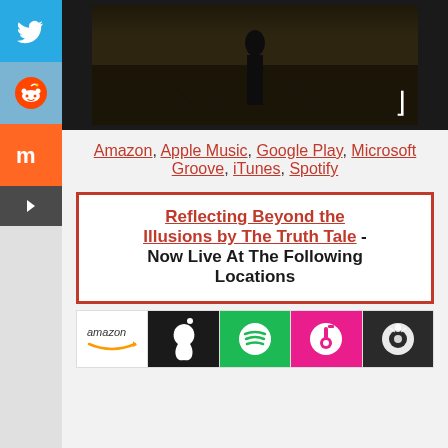[Figure (photo): Hero image for The Truth Tale album/music, dark background with yellow typewriter text reading 'The Truth Tale' and a white bracket in the corner]
Amazon, Apple Music, Google Play, Microsoft Groove, iTunes, Spotify
Reflecting Beyond the Illusions by The Truth Tale - Now Live At The Following Locations
[Figure (illustration): Row of music store logos: Amazon, Apple Music (dark background with apple icon), Spotify (green background), iTunes (pink/magenta background), and another music store icon (dark background)]